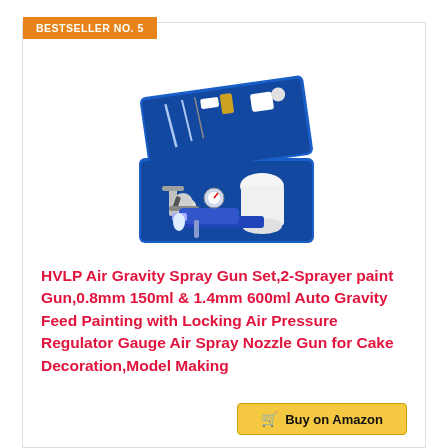BESTSELLER NO. 5
[Figure (photo): HVLP air gravity spray gun set in a blue carrying case, showing two spray guns and accessories organized inside the open case.]
HVLP Air Gravity Spray Gun Set,2-Sprayer paint Gun,0.8mm 150ml & 1.4mm 600ml Auto Gravity Feed Painting with Locking Air Pressure Regulator Gauge Air Spray Nozzle Gun for Cake Decoration,Model Making
$42.36 Prime
Buy on Amazon